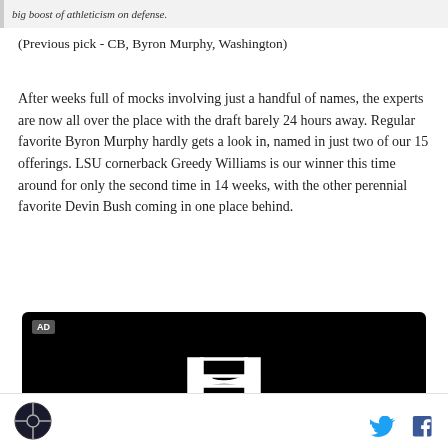big boost of athleticism on defense.
(Previous pick - CB, Byron Murphy, Washington)
After weeks full of mocks involving just a handful of names, the experts are now all over the place with the draft barely 24 hours away. Regular favorite Byron Murphy hardly gets a look in, named in just two of our 15 offerings. LSU cornerback Greedy Williams is our winner this time around for only the second time in 14 weeks, with the other perennial favorite Devin Bush coming in one place behind.
[Figure (other): Honda advertisement banner with black background and Honda logo]
Site logo and social media icons (Twitter, Facebook)